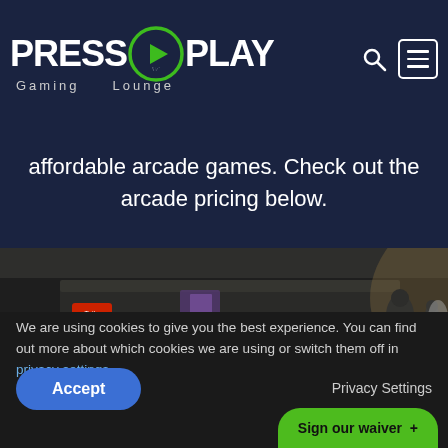PRESS PLAY Gaming Lounge
affordable arcade games. Check out the arcade pricing below.
[Figure (photo): Interior photo of a gaming lounge showing arcade cabinets and gaming setups in a dark room with accent lighting]
We are using cookies to give you the best experience. You can find out more about which cookies we are using or switch them off in privacy settings.
Accept
Privacy Settings
Sign our waiver +